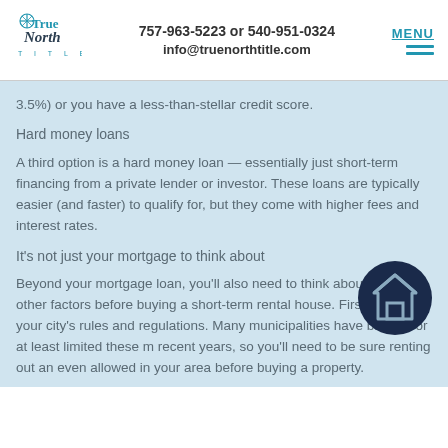True North Title | 757-963-5223 or 540-951-0324 | info@truenorthtitle.com
3.5%) or you have a less-than-stellar credit score.
Hard money loans
A third option is a hard money loan — essentially just short-term financing from a private lender or investor. These loans are typically easier (and faster) to qualify for, but they come with higher fees and interest rates.
It's not just your mortgage to think about
Beyond your mortgage loan, you'll also need to think about a few other factors before buying a short-term rental house. First, there's your city's rules and regulations. Many municipalities have banned or at least limited these in recent years, so you'll need to be sure renting out an is even allowed in your area before buying a property.
Additionally, there are other costs to factor in, including things